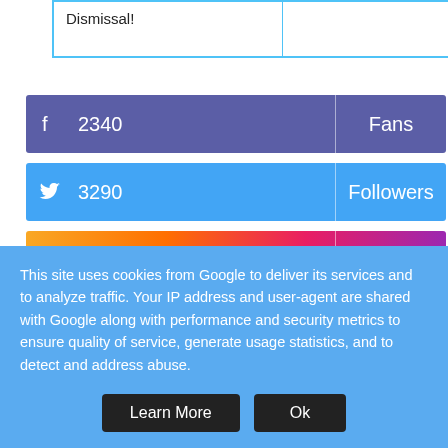| Dismissal! |  |
[Figure (infographic): Facebook social stat bar: 2340 Fans]
[Figure (infographic): Twitter social stat bar: 3290 Followers]
[Figure (infographic): Instagram social stat bar: 5212 Followers]
Advertisement
This site uses cookies from Google to deliver its services and to analyze traffic. Your IP address and user-agent are shared with Google along with performance and security metrics to ensure quality of service, generate usage statistics, and to detect and address abuse.
Learn More
Ok